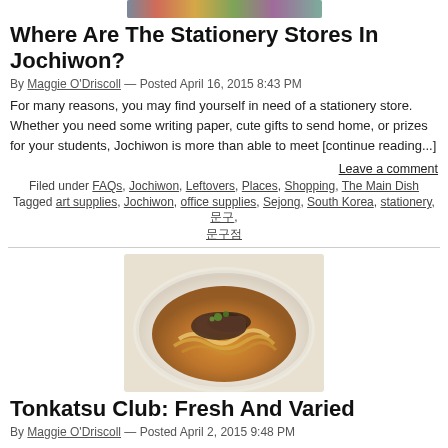[Figure (photo): Top portion of a stationery store image, cropped at top of page]
Where Are The Stationery Stores In Jochiwon?
By Maggie O'Driscoll — Posted April 16, 2015 8:43 PM
For many reasons, you may find yourself in need of a stationery store. Whether you need some writing paper, cute gifts to send home, or prizes for your students, Jochiwon is more than able to meet [continue reading...]
Leave a comment
Filed under FAQs, Jochiwon, Leftovers, Places, Shopping, The Main Dish
Tagged art supplies, Jochiwon, office supplies, Sejong, South Korea, stationery, 문구, 문구점
[Figure (photo): Photo of a bowl of Japanese tonkatsu noodle dish with broth and pork cutlet slices]
Tonkatsu Club: Fresh And Varied
By Maggie O'Driscoll — Posted April 2, 2015 9:48 PM
Light and bright. That's what you think when you first enter Tonkatsu Club in Jochiwon. Natural lighting combined with a cheery decor that includes painted walls, potted trees, and a two-tiered floor, makes for a [continue reading...]